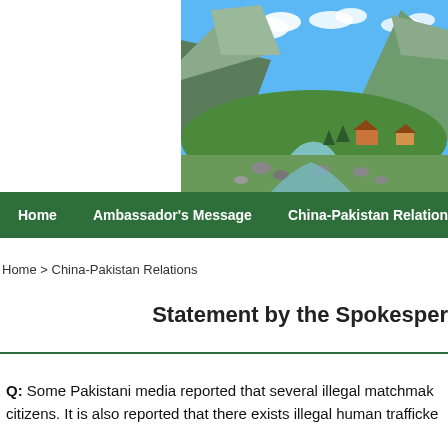[Figure (photo): Landscape photo showing a mountain valley with a river, green meadows, rocky stream, alpine chalets, and blue sky with clouds.]
Home   Ambassador's Message   China-Pakistan Relations
Home > China-Pakistan Relations
Statement by the Spokesper
Q: Some Pakistani media reported that several illegal matchmak citizens. It is also reported that there exists illegal human trafficke